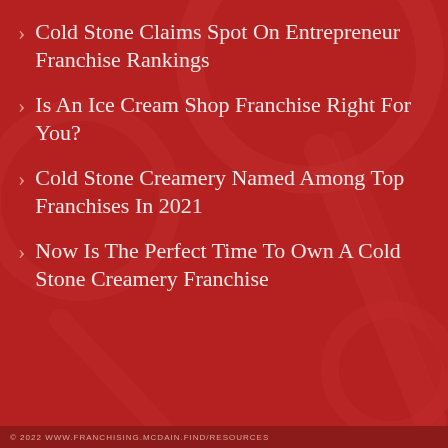Cold Stone Claims Spot On Entrepreneur Franchise Rankings
Is An Ice Cream Shop Franchise Right For You?
Cold Stone Creamery Named Among Top Franchises In 2021
Now Is The Perfect Time To Own A Cold Stone Creamery Franchise
© 2022 WWW.FRANCHISING.MCDAIN.FIND/RESOURCES